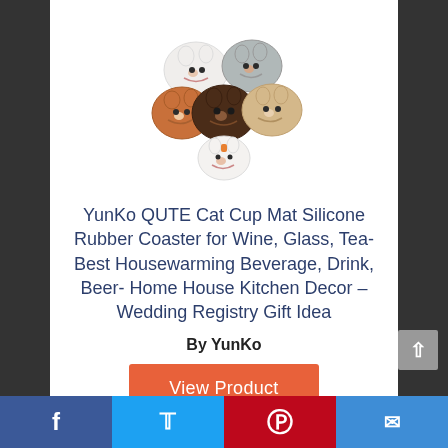[Figure (photo): Product image showing 6 cat face silicone coasters arranged in a circular cluster, various cat face designs in white, gray, brown, and dark brown colors]
YunKo QUTE Cat Cup Mat Silicone Rubber Coaster for Wine, Glass, Tea- Best Housewarming Beverage, Drink, Beer- Home House Kitchen Decor – Wedding Registry Gift Idea
By YunKo
View Product
8 ✓
Score
Facebook | Twitter | Pinterest | Email